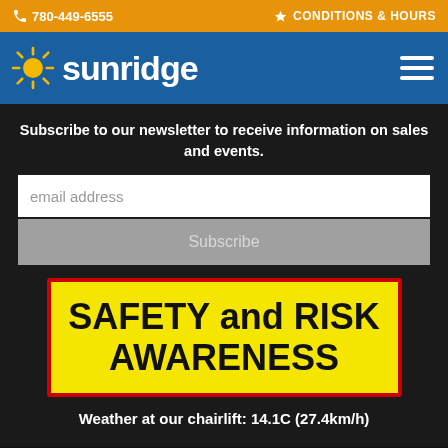780-449-6555  CONDITIONS & HOURS
[Figure (logo): Sunridge ski resort logo with sun burst icon and text 'sunridge' in white on blue background, with hamburger menu icon]
Subscribe to our newsletter to receive information on sales and events.
email address
Subscribe
SAFETY and RISK AWARENESS
Weather at our chairlift: 14.1C (27.4km/h)